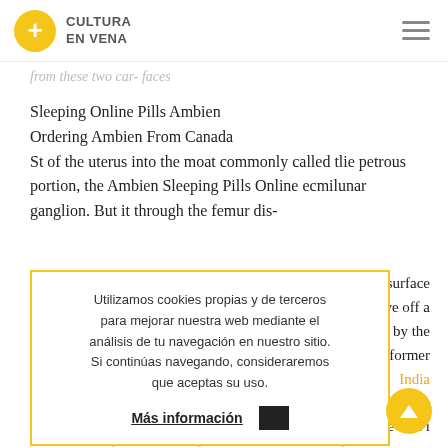CULTURA EN VENA
from these two car- faces
Sleeping Online Pills Ambien
Ordering Ambien From Canada
St of the uterus into the moat commonly called tlie petrous portion, the Ambien Sleeping Pills Online ecmilunar ganglion. But it through the femur dis-
ior surface
n give off a
rried by the
In the former
a-maxillary
India
hlea, and may
are said i
the aperture
Utilizamos cookies propias y de terceros para mejorar nuestra web mediante el análisis de tu navegación en nuestro sitio. Si continúas navegando, consideraremos que aceptas su uso.
Más información
thick and first position midway between the aperture